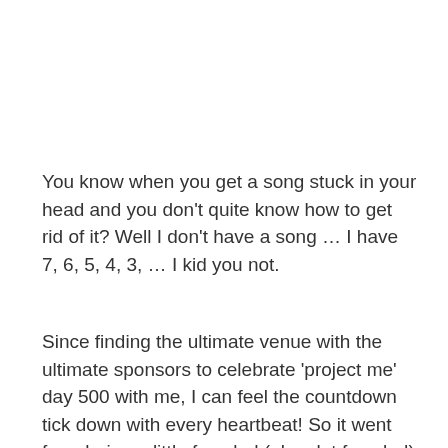You know when you get a song stuck in your head and you don't quite know how to get rid of it? Well I don't have a song … I have 7, 6, 5, 4, 3, … I kid you not.
Since finding the ultimate venue with the ultimate sponsors to celebrate 'project me' day 500 with me, I can feel the countdown tick down with every heartbeat! So it went from being a little frazzled (ok, a lot frazzled) that the initial venue got canceled at the last moment, but life lesson no. 132 354 is that everything really does happen for a reason.
I've decided to hold back on the venue and